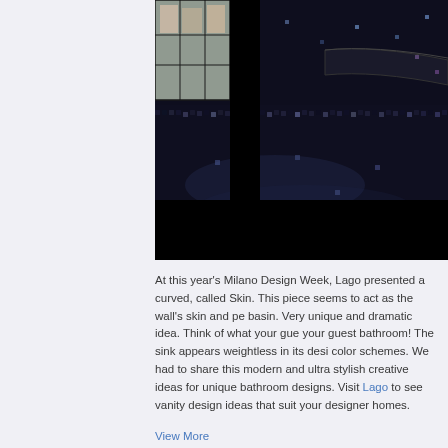[Figure (photo): A bathroom interior with dark blue/black mosaic tiles covering the floor and walls. A curved countertop or shelf is visible in the upper portion, also covered with the same dark mosaic tiles. A window with metal bars is visible on the left side showing a building exterior. The overall aesthetic is dramatic and modern.]
At this year's Milano Design Week, Lago presented a curved, called Skin. This piece seems to act as the wall's skin and pe basin. Very unique and dramatic idea. Think of what your gue your guest bathroom! The sink appears weightless in its desi color schemes. We had to share this modern and ultra stylish creative ideas for unique bathroom designs. Visit Lago to see vanity design ideas that suit your designer homes.
View More